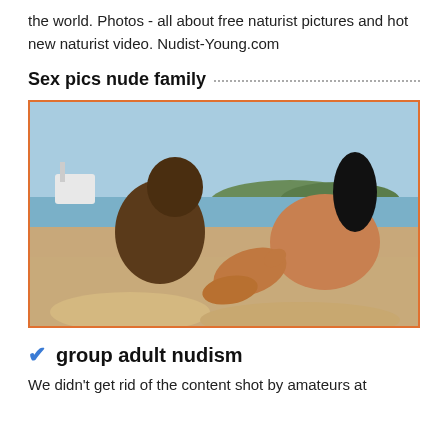the world. Photos - all about free naturist pictures and hot new naturist video. Nudist-Young.com
Sex pics nude family
[Figure (photo): Two people lying on a beach, viewed from behind, with sand and water in the background.]
group adult nudism
We didn't get rid of the content shot by amateurs at